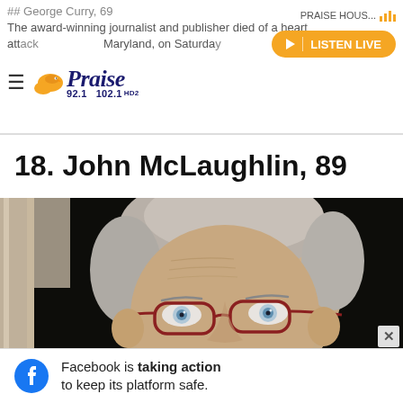Praise 92.1 / 102.1 HD2 — PRAISE HOUS... | LISTEN LIVE
George Curry, 69
The award-winning journalist and publisher died of a heart attack in Maryland, on Saturday
18. John McLaughlin, 89
[Figure (photo): Close-up portrait of an elderly man with white/grey hair, wearing red-framed glasses, looking directly at camera. Dark background with partial door frame visible on left side.]
Facebook is taking action to keep its platform safe.